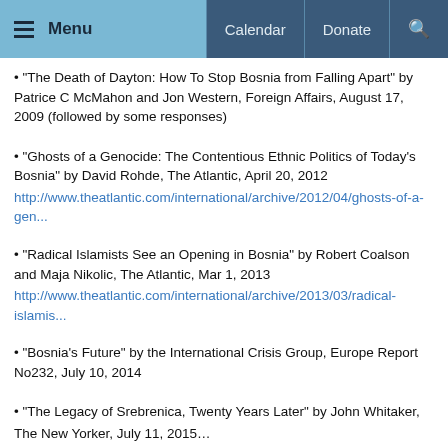Menu  Calendar  Donate
• “The Death of Dayton: How To Stop Bosnia from Falling Apart” by Patrice C McMahon and Jon Western, Foreign Affairs, August 17, 2009 (followed by some responses)
• “Ghosts of a Genocide: The Contentious Ethnic Politics of Today’s Bosnia” by David Rohde, The Atlantic, April 20, 2012
http://www.theatlantic.com/international/archive/2012/04/ghosts-of-a-gen...
• “Radical Islamists See an Opening in Bosnia” by Robert Coalson and Maja Nikolic, The Atlantic, Mar 1, 2013
http://www.theatlantic.com/international/archive/2013/03/radical-islamis...
• “Bosnia’s Future” by the International Crisis Group, Europe Report No232, July 10, 2014
• “The Legacy of Srebrenica, Twenty Years Later” by John Whitaker, The New Yorker, July 11, 2015…